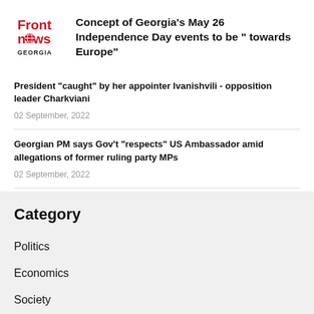[Figure (logo): Front News Georgia logo - red text on white background]
Concept of Georgia's May 26 Independence Day events to be “ towards Europe”
President “caught” by her appointer Ivanishvili - opposition leader Charkviani
02 September, 2022
Georgian PM says Gov’t “respects” US Ambassador amid allegations of former ruling party MPs
02 September, 2022
Category
Politics
Economics
Society